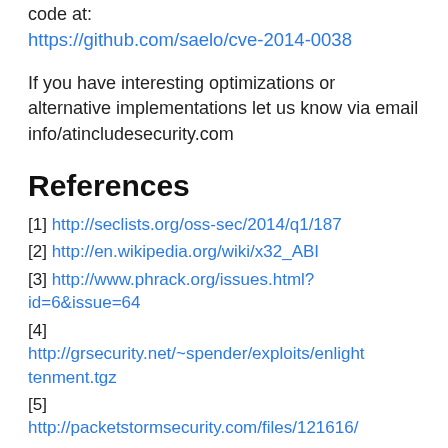code at:
https://github.com/saelo/cve-2014-0038
If you have interesting optimizations or alternative implementations let us know via email info/atincludesecurity.com
References
[1] http://seclists.org/oss-sec/2014/q1/187
[2] http://en.wikipedia.org/wiki/x32_ABI
[3] http://www.phrack.org/issues.html?id=6&issue=64
[4] http://grsecurity.net/~spender/exploits/enlightenment.tgz
[5] http://packetstormsecurity.com/files/121616/